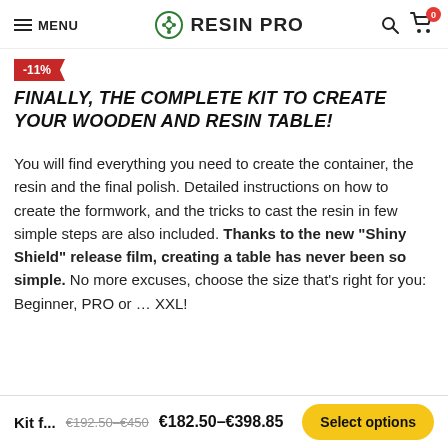MENU | RESIN PRO | Search | Cart (0)
-11%
FINALLY, THE COMPLETE KIT TO CREATE YOUR WOODEN AND RESIN TABLE!
You will find everything you need to create the container, the resin and the final polish. Detailed instructions on how to create the formwork, and the tricks to cast the resin in few simple steps are also included. Thanks to the new “Shiny Shield” release film, creating a table has never been so simple. No more excuses, choose the size that’s right for you: Beginner, PRO or … XXL!
Kit f... €192.50–€450 €182.50–€398.85 Select options